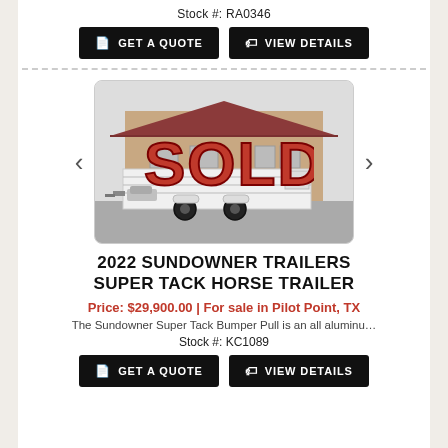Stock #: RA0346
GET A QUOTE
VIEW DETAILS
[Figure (photo): Photo of a white horse trailer with a red SOLD overlay stamp, parked outside a dealership building]
2022 SUNDOWNER TRAILERS SUPER TACK HORSE TRAILER
Price: $29,900.00 | For sale in Pilot Point, TX
The Sundowner Super Tack Bumper Pull is an all aluminu…
Stock #: KC1089
GET A QUOTE
VIEW DETAILS